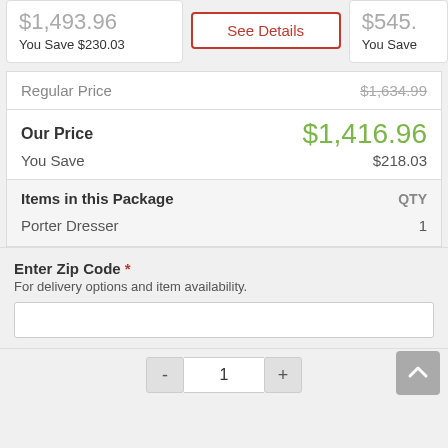$1,493.96
You Save $230.03
See Details
$545.
You Save
| Label | Value |
| --- | --- |
| Regular Price | $1,634.99 |
| Our Price | $1,416.96 |
| You Save | $218.03 |
| Items in this Package | QTY |
| Porter Dresser | 1 |
Enter Zip Code *
For delivery options and item availability.
- 1 +